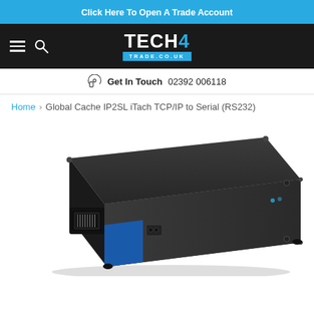Click Here To Open A Trade Account
[Figure (logo): TECH4 TRADE.CO.UK logo in white text on dark background with blue accent bar]
Get In Touch  02392 006118
Home > Global Cache IP2SL iTach TCP/IP to Serial (RS232)
[Figure (photo): A black compact network device (Global Cache IP2SL iTach) shown at an angle, with an RJ45 ethernet port and blue RS232 serial connector visible on the front face.]